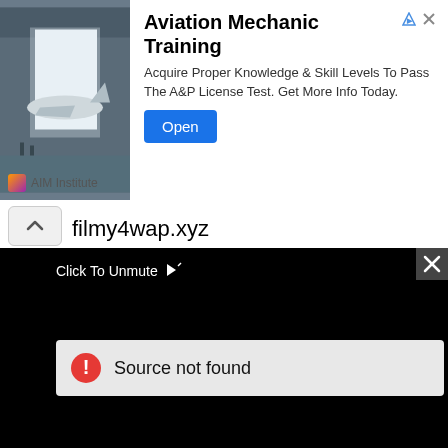[Figure (screenshot): Advertisement banner for AIM Institute Aviation Mechanic Training. Contains a photo of an airplane in a hangar, bold title 'Aviation Mechanic Training', body text 'Acquire Proper Knowledge & Skill Levels To Pass The A&P License Test. Get More Info Today.', a blue 'Open' button, ad indicators (triangle and X icons), and 'AIM Institute' footer logo.]
filmy4wap.xyz
filmy4wap.in
1filmy4wap.me
filmy4wapli...
[Figure (screenshot): Black video player area with 'Click To Unmute' text with cursor icon, and a 'Source not found' error message in a grey banner with red error icon. Top-right has a dark close button with X.]